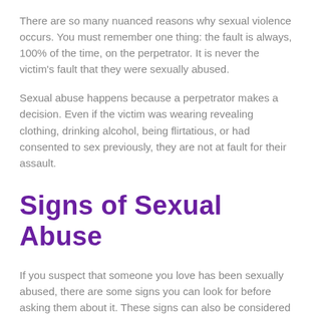There are so many nuanced reasons why sexual violence occurs. You must remember one thing: the fault is always, 100% of the time, on the perpetrator. It is never the victim's fault that they were sexually abused.
Sexual abuse happens because a perpetrator makes a decision. Even if the victim was wearing revealing clothing, drinking alcohol, being flirtatious, or had consented to sex previously, they are not at fault for their assault.
Signs of Sexual Abuse
If you suspect that someone you love has been sexually abused, there are some signs you can look for before asking them about it. These signs can also be considered the short-term effects of sexual abuse.